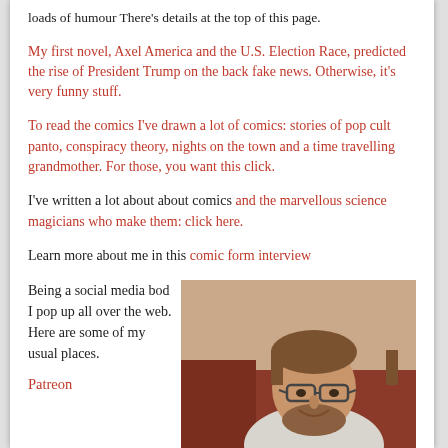loads of humour There's details at the top of this page.
My first novel, Axel America and the U.S. Election Race, predicted the rise of President Trump on the back fake news. Otherwise, it's very funny stuff.
To read the comics I've drawn a lot of comics: stories of pop cult panto, conspiracy theory, nights on the town and a time travelling grandmother. For those, you want this click.
I've written a lot about about comics and the marvellous science magicians who make them: click here.
Learn more about me in this comic form interview
Being a social media bod I pop up all over the web. Here are some of my usual places.
[Figure (photo): Portrait photo of a smiling man with glasses and short beard, seated on a reddish-brown couch, wearing a light-colored shirt.]
Patreon